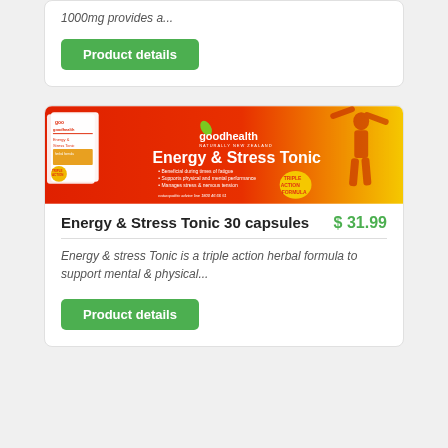1000mg provides a...
Product details
[Figure (photo): Good Health Energy & Stress Tonic product banner showing product boxes on an orange/red gradient background with a silhouette of a person with arms raised. Text reads: goodhealth NATURALLY NEW ZEALAND, Energy & Stress Tonic, Beneficial during times of fatigue, Supports physical and mental performance, Manages stress & nervous tension, TRIPLE ACTION FORMULA, naturopathic advice line 1800 46 66 51]
Energy & Stress Tonic 30 capsules
$ 31.99
Energy & stress Tonic is a triple action herbal formula to support mental & physical...
Product details